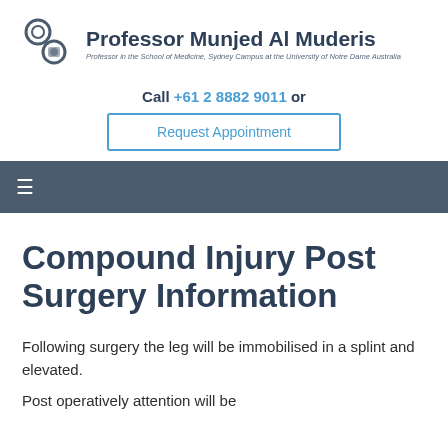Professor Munjed Al Muderis — Professor in the School of Medicine, Sydney Campus at the University of Notre Dame Australia
Call +61 2 8882 9011 or
Request Appointment
Compound Injury Post Surgery Information
Following surgery the leg will be immobilised in a splint and elevated.
Post operatively attention will be...